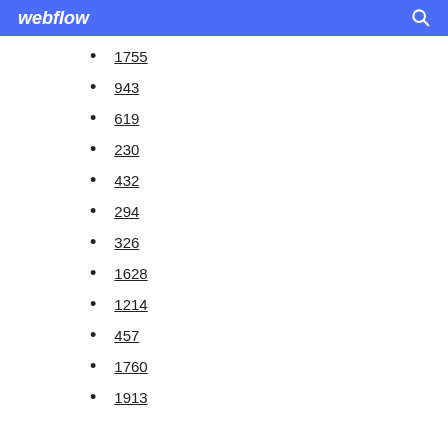webflow
1755
943
619
230
432
294
326
1628
1214
457
1760
1913